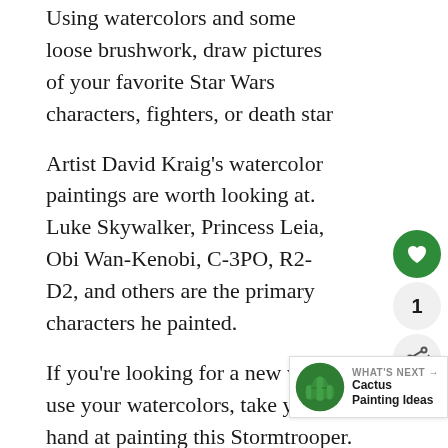Using watercolors and some loose brushwork, draw pictures of your favorite Star Wars characters, fighters, or death star
Artist David Kraig's watercolor paintings are worth looking at. Luke Skywalker, Princess Leia, Obi Wan-Kenobi, C-3PO, R2-D2, and others are the primary characters he painted.
If you're looking for a new way to use your watercolors, take your hand at painting this Stormtrooper. (Read Best Paint For Rocks)
Spray Paint Star Wars Painting Ideas
You can use spray paint cans to create a mural-sized